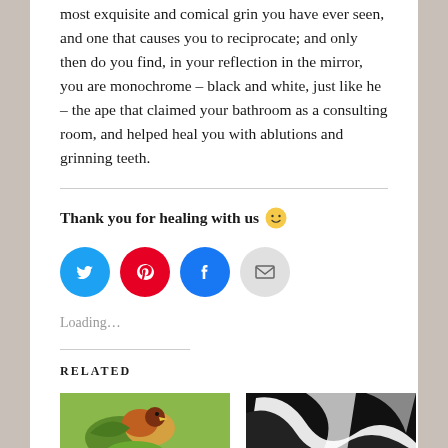most exquisite and comical grin you have ever seen, and one that causes you to reciprocate; and only then do you find, in your reflection in the mirror, you are monochrome – black and white, just like he – the ape that claimed your bathroom as a consulting room, and helped heal you with ablutions and grinning teeth.
Thank you for healing with us 🙂
[Figure (infographic): Social sharing buttons: Twitter (blue circle), Pinterest (red circle), Facebook (blue circle), Email (grey circle)]
Loading...
RELATED
[Figure (illustration): Colorful bird illustration with green and orange tones]
[Figure (photo): Abstract black and white graphic with curved shapes]